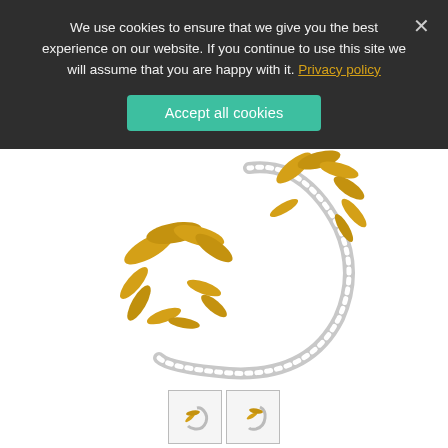We use cookies to ensure that we give you the best experience on our website. If you continue to use this site we will assume that you are happy with it. Privacy policy
Accept all cookies
[Figure (photo): Gold leaf-branch ear cuff jewelry with diamond-studded curved band, shown in yellow gold with detailed leaf clusters.]
[Figure (photo): Thumbnail images of the ear cuff jewelry from different angles.]